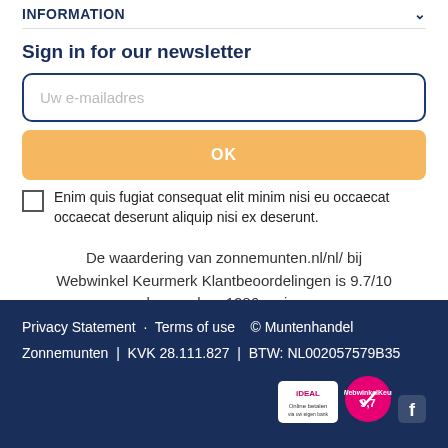INFORMATION
Sign in for our newsletter
Uw e-mailadres
OK
Enim quis fugiat consequat elit minim nisi eu occaecat occaecat deserunt aliquip nisi ex deserunt.
De waardering van zonnemunten.nl/nl/ bij Webwinkel Keurmerk Klantbeoordelingen is 9.7/10 gebaseerd op 1286 reviews.
Privacy Statement · Terms of use © Muntenhandel Zonnemunten | KVK 28.111.827 | BTW: NL002057579B35